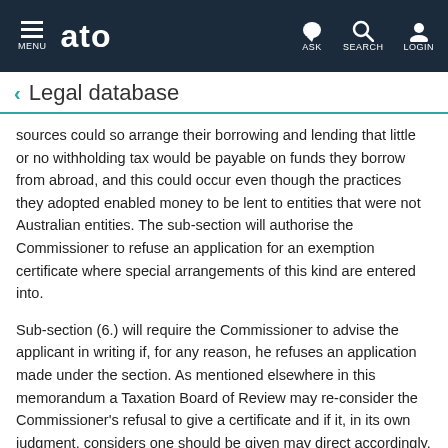MENU  ato  ASK  SEARCH  LOGIN
Legal database
sources could so arrange their borrowing and lending that little or no withholding tax would be payable on funds they borrow from abroad, and this could occur even though the practices they adopted enabled money to be lent to entities that were not Australian entities. The sub-section will authorise the Commissioner to refuse an application for an exemption certificate where special arrangements of this kind are entered into.
Sub-section (6.) will require the Commissioner to advise the applicant in writing if, for any reason, he refuses an application made under the section. As mentioned elsewhere in this memorandum a Taxation Board of Review may re-consider the Commissioner's refusal to give a certificate and if it, in its own judgment, considers one should be given may direct accordingly.